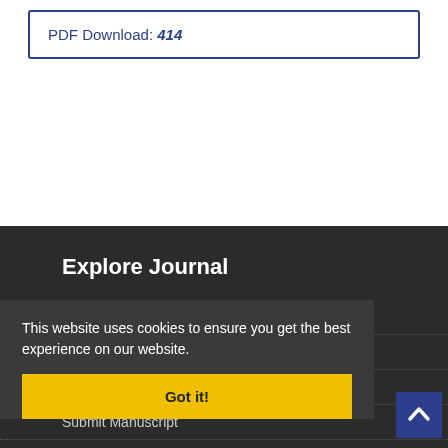PDF Download: 414
Explore Journal
Home
About Journal
Editorial Board
Submit Manuscript
XML for Scientific Databases
Glossary
Hard Copy Subscription
Sitemap
This website uses cookies to ensure you get the best experience on our website.
Got it!